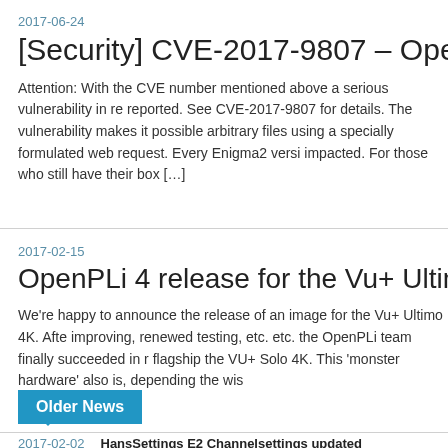2017-06-24
[Security] CVE-2017-9807 – OpenWebIf Vulnerab
Attention: With the CVE number mentioned above a serious vulnerability in re reported. See CVE-2017-9807 for details. The vulnerability makes it possible arbitrary files using a specially formulated web request. Every Enigma2 versi impacted. For those who still have their box […]
2017-02-15
OpenPLi 4 release for the Vu+ Ultimo 4K
We're happy to announce the release of an image for the Vu+ Ultimo 4K. Afte improving, renewed testing, etc. etc. the OpenPLi team finally succeeded in r flagship the VU+ Solo 4K. This 'monster hardware' also is, depending the wis
Older News
2017-02-02   HansSettings E2 Channelsettings updated